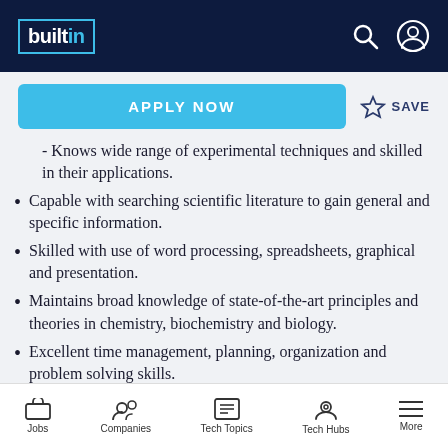builtin
Knows wide range of experimental techniques and skilled in their applications.
Capable with searching scientific literature to gain general and specific information.
Skilled with use of word processing, spreadsheets, graphical and presentation.
Maintains broad knowledge of state-of-the-art principles and theories in chemistry, biochemistry and biology.
Excellent time management, planning, organization and problem solving skills.
Jobs | Companies | Tech Topics | Tech Hubs | More